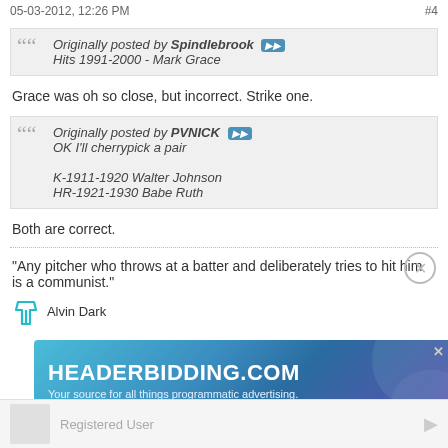05-03-2012, 12:26 PM  #4
Originally posted by Spindlebrook
Hits 1991-2000 - Mark Grace
Grace was oh so close, but incorrect. Strike one.
Originally posted by PVNICK
OK I'll cherrypick a pair

K-1911-1920 Walter Johnson
HR-1921-1930 Babe Ruth
Both are correct.
"Any pitcher who throws at a batter and deliberately tries to hit him is a communist."
- Alvin Dark
[Figure (infographic): HEADERBIDDING.COM advertisement banner - Your source for all things programmatic advertising.]
Registered User